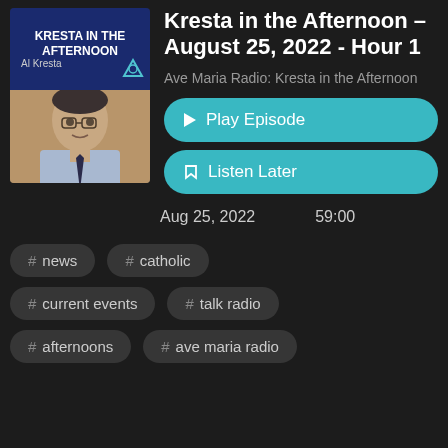[Figure (photo): Podcast cover art for Kresta in the Afternoon showing Al Kresta's photo and show branding on dark blue background]
Kresta in the Afternoon – August 25, 2022 - Hour 1
Ave Maria Radio: Kresta in the Afternoon
▶ Play Episode
☐ Listen Later
Aug 25, 2022    59:00
# news  # catholic
# current events  # talk radio
# afternoons  # ave maria radio